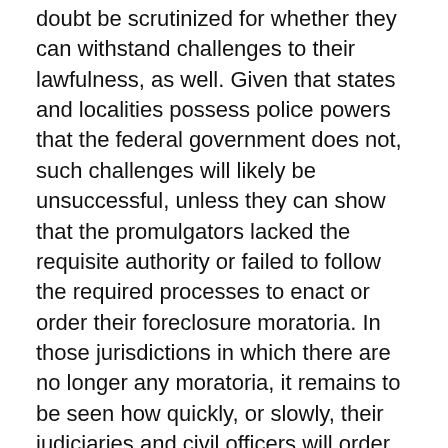doubt be scrutinized for whether they can withstand challenges to their lawfulness, as well. Given that states and localities possess police powers that the federal government does not, such challenges will likely be unsuccessful, unless they can show that the promulgators lacked the requisite authority or failed to follow the required processes to enact or order their foreclosure moratoria. In those jurisdictions in which there are no longer any moratoria, it remains to be seen how quickly, or slowly, their judiciaries and civil officers will order and carry out evictions while the pandemic is still raging.
1. See "Temporary Halt in Residential Evictions to Prevent the Further Spread of COVID-19," 85 Fed.